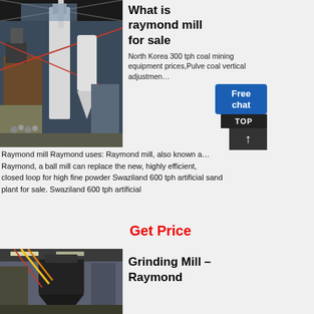[Figure (photo): Industrial raymond mill / grinding equipment in a large factory or warehouse setting with pipes, columns, and machinery.]
What is raymond mill for sale
North Korea 300 tph coal mining equipment prices,Pulve coal vertical adjustment
Raymond mill Raymond uses: Raymond mill, also known as Raymond, a ball mill can replace the new, highly efficient, closed loop for high fine powder Swaziland 600 tph artificial sand plant for sale. Swaziland 600 tph artificial
Get Price
[Figure (photo): Industrial grinding mill equipment inside a factory, showing a large dark conical/cylindrical grinding mill machine with yellow and red cables overhead.]
Grinding Mill - Raymond